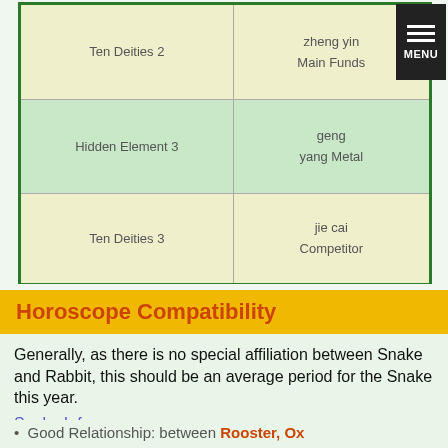|  |  |
| --- | --- |
| Ten Deities 2 | zheng yin
Main Funds |
| Hidden Element 3 | geng
yang Metal |
| Ten Deities 3 | jie cai
Competitor |
Horoscope Compatibility
Generally, as there is no special affiliation between Snake and Rabbit, this should be an average period for the Snake this year.
Snake Info
Good Relationship: between Rooster, Ox